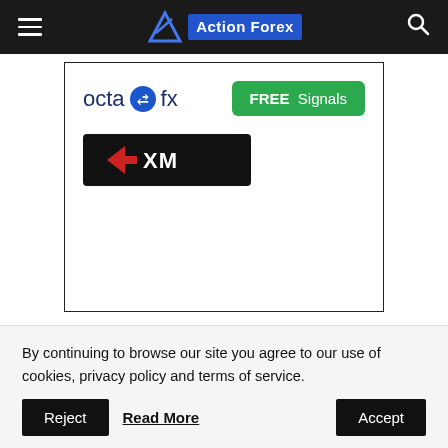Action Forex
[Figure (logo): Advertisement box containing OctaFX logo with 'FREE Signals' green button, and XM broker logo on black background]
By continuing to browse our site you agree to our use of cookies, privacy policy and terms of service.
Accept
Reject
Read More